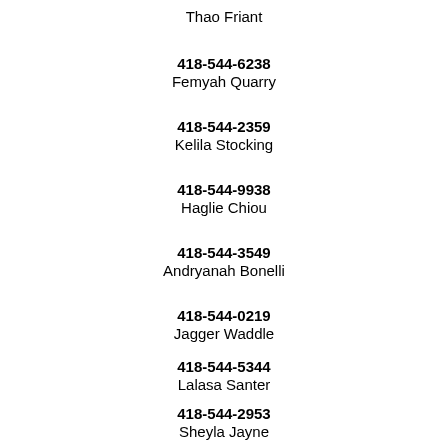Thao Friant
418-544-6238
Femyah Quarry
418-544-2359
Kelila Stocking
418-544-9938
Haglie Chiou
418-544-3549
Andryanah Bonelli
418-544-0219
Jagger Waddle
418-544-5344
Lalasa Santer
418-544-2953
Sheyla Jayne
418-544-9985
Arledge Keath